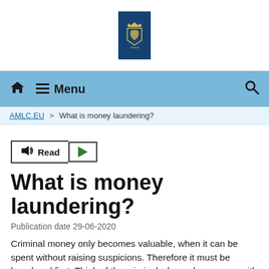[Figure (logo): Dutch government coat of arms logo on dark blue background]
≡ Menu 🔍
AMLC.EU > What is money laundering?
[Figure (other): Read aloud button with speaker icon and play button]
What is money laundering?
Publication date 29-06-2020
Criminal money only becomes valuable, when it can be spent without raising suspicions. Therefore it must be laundered first. Think of the criminal who makes money with cocaine trade. He wants to use this money to finance his (luxury) lifestyle without having